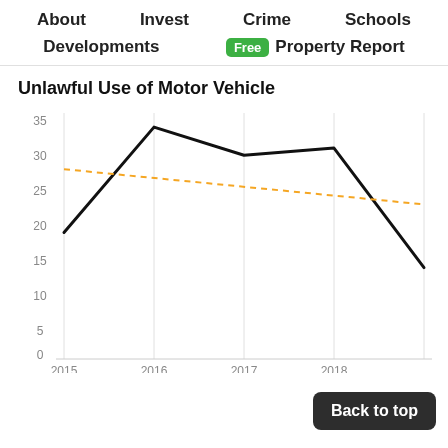About   Invest   Crime   Schools   Developments   Free   Property Report
Unlawful Use of Motor Vehicle
[Figure (line-chart): Unlawful Use of Motor Vehicle]
Back to top